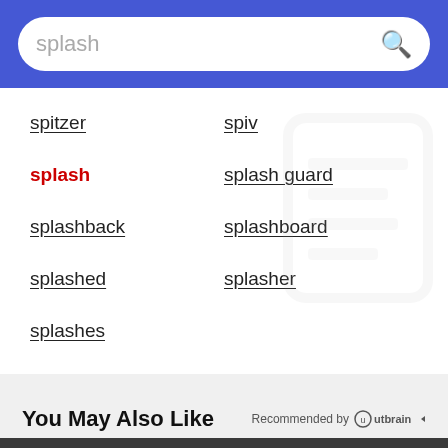splash
spitzer
spiv
splash
splash guard
splashback
splashboard
splashed
splasher
splashes
You May Also Like
Recommended by Outbrain
[Figure (screenshot): Dark banner placeholder at bottom of content area]
[Figure (photo): BitLife ad banner: NOW WITH GOD MODE, with lightning bolt, thumb and hand pointing graphics on cyan/blue gradient background]